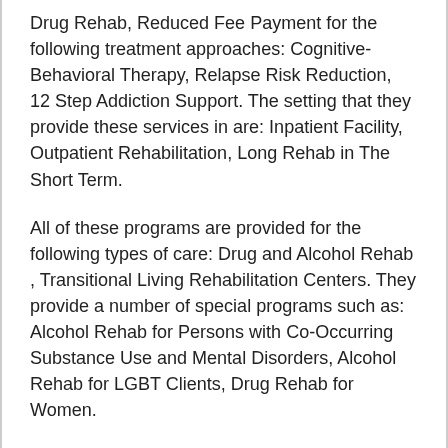Drug Rehab, Reduced Fee Payment for the following treatment approaches: Cognitive-Behavioral Therapy, Relapse Risk Reduction, 12 Step Addiction Support. The setting that they provide these services in are: Inpatient Facility, Outpatient Rehabilitation, Long Rehab in The Short Term.
All of these programs are provided for the following types of care: Drug and Alcohol Rehab , Transitional Living Rehabilitation Centers. They provide a number of special programs such as: Alcohol Rehab for Persons with Co-Occurring Substance Use and Mental Disorders, Alcohol Rehab for LGBT Clients, Drug Rehab for Women.